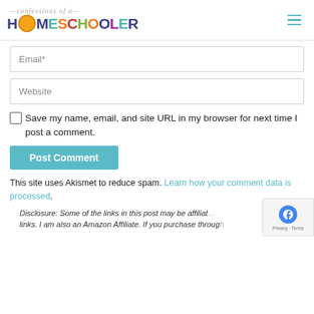[Figure (logo): Confessions of a Homeschooler logo with colorful text and sunflower]
Email*
Website
Save my name, email, and site URL in my browser for next time I post a comment.
Post Comment
This site uses Akismet to reduce spam. Learn how your comment data is processed.
Disclosure: Some of the links in this post may be affiliate links. I am also an Amazon Affiliate. If you purchase through